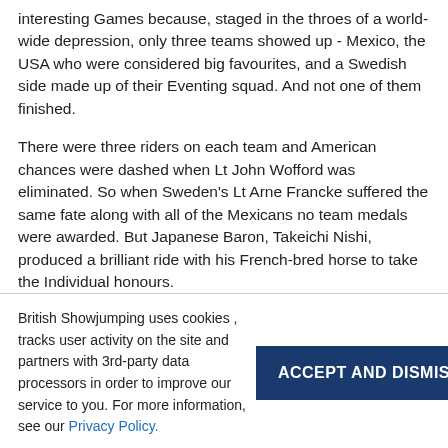interesting Games because, staged in the throes of a world-wide depression, only three teams showed up - Mexico, the USA who were considered big favourites, and a Swedish side made up of their Eventing squad. And not one of them finished.
There were three riders on each team and American chances were dashed when Lt John Wofford was eliminated. So when Sweden's Lt Arne Francke suffered the same fate along with all of the Mexicans no team medals were awarded. But Japanese Baron, Takeichi Nishi, produced a brilliant ride with his French-bred horse to take the Individual honours.
There will be three riders per team this time around as well, so just like back in 1932 when mistakes proved more than costly, there will be no room for error in the team competition, and Individual glory
British Showjumping uses cookies , tracks user activity on the site and partners with 3rd-party data processors in order to improve our service to you. For more information, see our Privacy Policy.